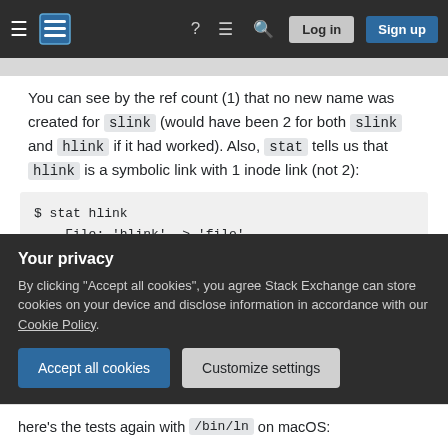Stack Exchange navigation bar with hamburger menu, logo, help, chat, search icons, Log in and Sign up buttons
You can see by the ref count (1) that no new name was created for slink (would have been 2 for both slink and hlink if it had worked). Also, stat tells us that hlink is a symbolic link with 1 inode link (not 2):
$ stat hlink
    File: 'hlink' -> 'file'
    Size: 4            Blocks: 8
Device: 1000004h/16777220d    Inode: 8382
Access: (0755/lrwxr-xr-x)  Uid: (  501/
Your privacy
By clicking "Accept all cookies", you agree Stack Exchange can store cookies on your device and disclose information in accordance with our Cookie Policy.
here's the tests again with /bin/ln on macOS: